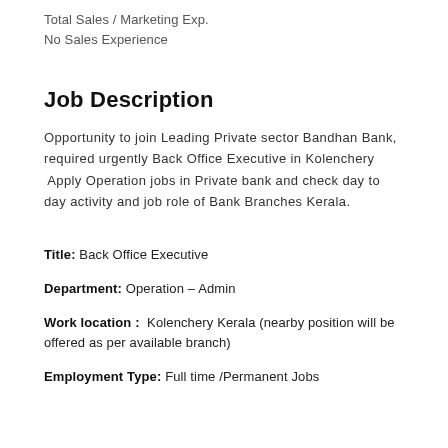Total Sales / Marketing Exp.
No Sales Experience
Job Description
Opportunity to join Leading Private sector Bandhan Bank, required urgently Back Office Executive in Kolenchery  Apply Operation jobs in Private bank and check day to day activity and job role of Bank Branches Kerala.
Title: Back Office Executive
Department: Operation – Admin
Work location : Kolenchery Kerala (nearby position will be offered as per available branch)
Employment Type: Full time /Permanent Jobs